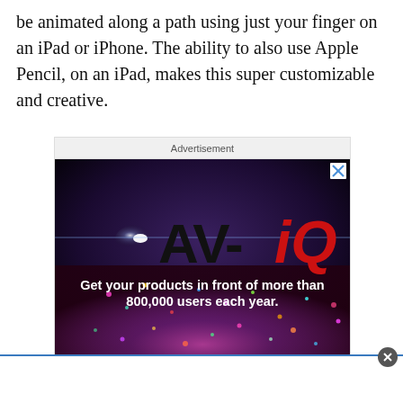be animated along a path using just your finger on an iPad or iPhone. The ability to also use Apple Pencil, on an iPad, makes this super customizable and creative.
[Figure (other): Advertisement banner for AV-iQ showing logo text 'AV-iQ' with colorful confetti crowd background and text 'Get your products in front of more than 800,000 users each year.']